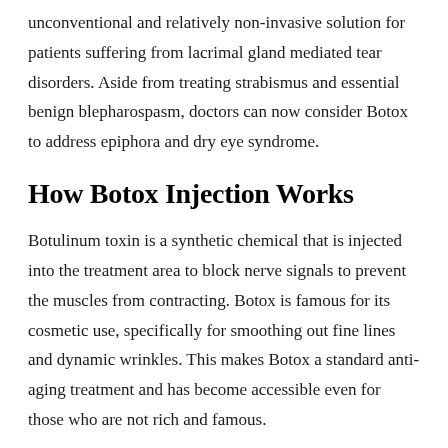unconventional and relatively non-invasive solution for patients suffering from lacrimal gland mediated tear disorders. Aside from treating strabismus and essential benign blepharospasm, doctors can now consider Botox to address epiphora and dry eye syndrome.
How Botox Injection Works
Botulinum toxin is a synthetic chemical that is injected into the treatment area to block nerve signals to prevent the muscles from contracting. Botox is famous for its cosmetic use, specifically for smoothing out fine lines and dynamic wrinkles. This makes Botox a standard anti-aging treatment and has become accessible even for those who are not rich and famous.
Depending on the treatment area involved, a Botox patient may need from 1 to 10 injections during a single session to block the